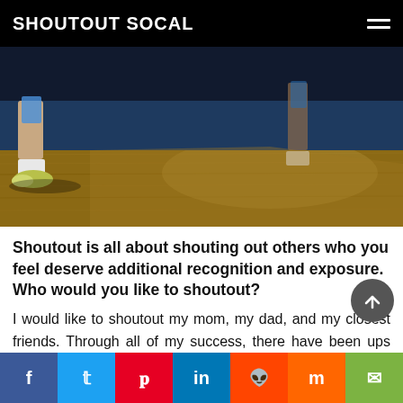SHOUTOUT SOCAL
[Figure (photo): Close-up photo of a basketball player's feet and legs on a hardwood gym floor, wearing white socks and light-colored sneakers. Background shows blue walls and another person's legs.]
Shoutout is all about shouting out others who you feel deserve additional recognition and exposure. Who would you like to shoutout?
I would like to shoutout my mom, my dad, and my closest friends. Through all of my success, there have been ups and downs. There have been sacrifices that affected those people around me. They deserve recognition. I would like to sincerely thank them for the huge amount of support and love they have showed me.